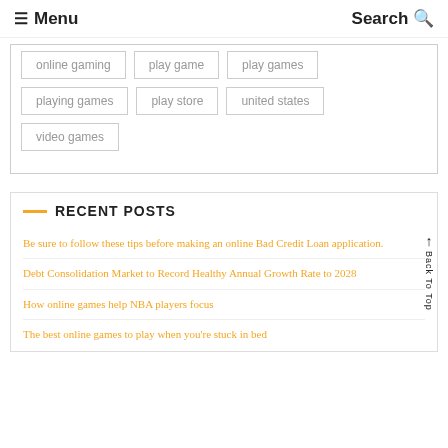≡ Menu   Search Q
online gaming
play game
play games
playing games
play store
united states
video games
RECENT POSTS
Be sure to follow these tips before making an online Bad Credit Loan application.
Debt Consolidation Market to Record Healthy Annual Growth Rate to 2028
How online games help NBA players focus
The best online games to play when you're stuck in bed